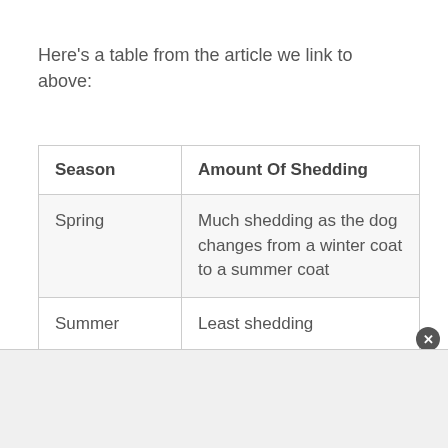Here's a table from the article we link to above:
| Season | Amount Of Shedding |
| --- | --- |
| Spring | Much shedding as the dog changes from a winter coat to a summer coat |
| Summer | Least shedding |
| Fall | Much shedding as the dog |